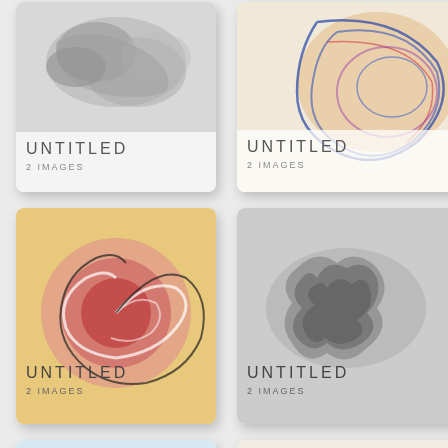[Figure (photo): Grid of 6 art catalog cards, each showing abstract artwork with 'UNTITLED / 2 IMAGES' label overlay. Top-left: grayscale abstract smudge painting. Top-right: colorful swirling abstract in blue, red, orange. Middle-left: red rose-like swirl painting on warm background. Middle-right: dark grayscale organic forms drawing. Bottom-left: blue pastel with signature script. Bottom-right: ink sketch with chaotic lines.]